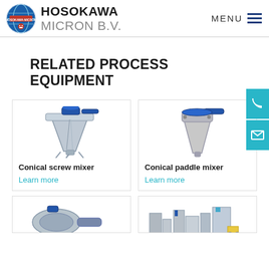[Figure (logo): Hosokawa Micron BV logo with globe icon and company name]
RELATED PROCESS EQUIPMENT
[Figure (illustration): Conical screw mixer industrial equipment illustration]
Conical screw mixer
Learn more
[Figure (illustration): Conical paddle mixer industrial equipment illustration]
Conical paddle mixer
Learn more
[Figure (illustration): Industrial mixing/grinding equipment, partially visible]
[Figure (illustration): Industrial processing plant system, partially visible]